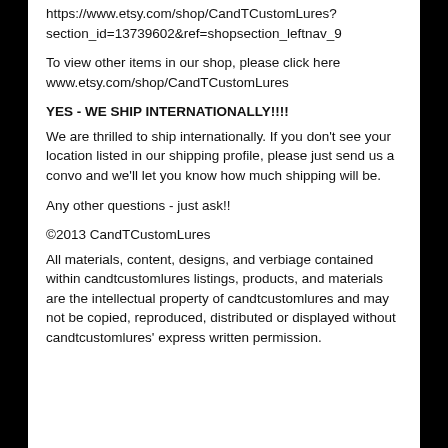https://www.etsy.com/shop/CandTCustomLures?section_id=13739602&ref=shopsection_leftnav_9
To view other items in our shop, please click here www.etsy.com/shop/CandTCustomLures
YES - WE SHIP INTERNATIONALLY!!!!
We are thrilled to ship internationally. If you don't see your location listed in our shipping profile, please just send us a convo and we'll let you know how much shipping will be.
Any other questions - just ask!!
©2013 CandTCustomLures
All materials, content, designs, and verbiage contained within candtcustomlures listings, products, and materials are the intellectual property of candtcustomlures and may not be copied, reproduced, distributed or displayed without candtcustomlures' express written permission.